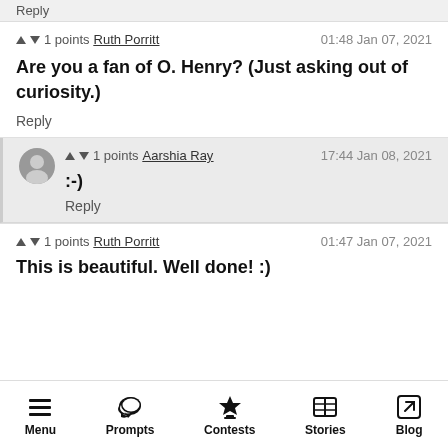Reply
▲ ▼ 1 points  Ruth Porritt   01:48 Jan 07, 2021
Are you a fan of O. Henry? (Just asking out of curiosity.)
Reply
▲ ▼ 1 points  Aarshia Ray   17:44 Jan 08, 2021
:-)
Reply
▲ ▼ 1 points  Ruth Porritt   01:47 Jan 07, 2021
This is beautiful. Well done! :)
Menu  Prompts  Contests  Stories  Blog